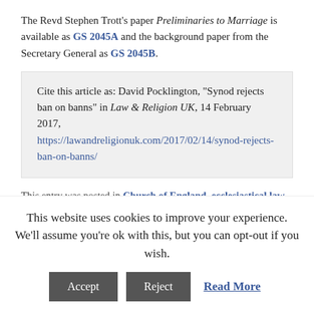The Revd Stephen Trott's paper Preliminaries to Marriage is available as GS 2045A and the background paper from the Secretary General as GS 2045B.
Cite this article as: David Pocklington, "Synod rejects ban on banns" in Law & Religion UK, 14 February 2017, https://lawandreligionuk.com/2017/02/14/synod-rejects-ban-on-banns/
This entry was posted in Church of England, ecclesiastical law, General Synod, marriage & divorce and tagged Church of England, General Synod, marriage by David Pocklington. Bookmark the permalink.
This website uses cookies to improve your experience. We'll assume you're ok with this, but you can opt-out if you wish.